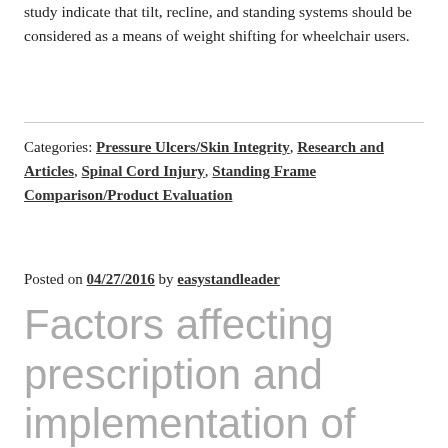study indicate that tilt, recline, and standing systems should be considered as a means of weight shifting for wheelchair users.
Categories: Pressure Ulcers/Skin Integrity, Research and Articles, Spinal Cord Injury, Standing Frame Comparison/Product Evaluation
Posted on 04/27/2016 by easystandleader
Factors affecting prescription and implementation of